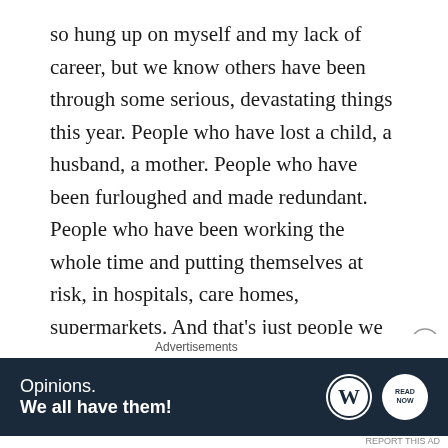so hung up on myself and my lack of career, but we know others have been through some serious, devastating things this year. People who have lost a child, a husband, a mother. People who have been furloughed and made redundant. People who have been working the whole time and putting themselves at risk, in hospitals, care homes, supermarkets. And that’s just people we actually know. What’s Christmas been like for George Floyd’s or Breonna Taylor’s families this year?
I’ve been thinking of the words to Have Yourself a
[Figure (other): Advertisement banner: dark navy background with text 'Opinions. We all have them!' and WordPress logo and another circular logo on the right]